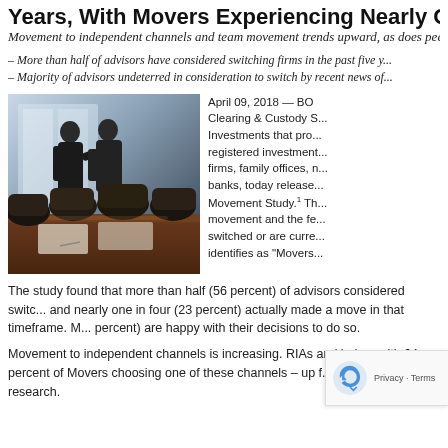Years, With Movers Experiencing Nearly One-...
Movement to independent channels and team movement trends upward, as does peer h...
– More than half of advisors have considered switching firms in the past five y...
– Majority of advisors undeterred in consideration to switch by recent news of...
[Figure (photo): Boardroom scene with two businessmen standing and talking in background, leather executive chairs in foreground at a conference table]
April 09, 2018 — BO... Clearing & Custody S... Investments that pro... registered investment... firms, family offices, n... banks, today release... Movement Study.1 Th... movement and the fe... switched or are curre... identifies as "Movers...
The study found that more than half (56 percent) of advisors considered switc... and nearly one in four (23 percent) actually made a move in that timeframe. M... percent) are happy with their decisions to do so.
Movement to independent channels is increasing. RIAs and inde... with 64 percent of Movers choosing one of these channels – up f... Advisor Movement research.